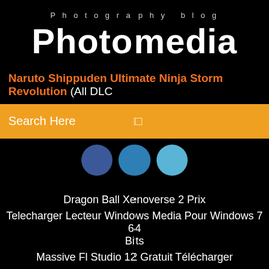Photography blog
Photomedia
Naruto Shippuden Ultimate Ninja Storm Revolution (All DLC
Search Here
[Figure (other): Three circular social media buttons (Facebook, Twitter, Google+) partially visible]
Dragon Ball Xenoverse 2 Prix
Telecharger Lecteur Windows Media Pour Windows 7 64 Bits
Massive Fl Studio 12 Gratuit Télécharger
Onedrive Client Windows 7